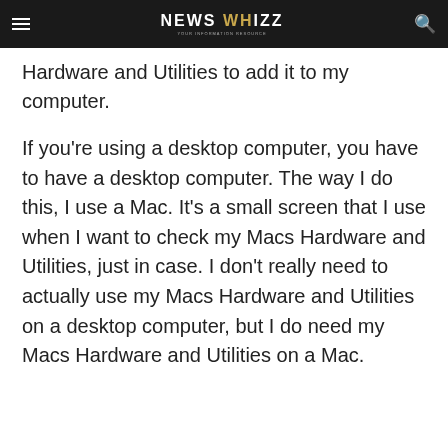NEWS WHIZZ
Hardware and Utilities to add it to my computer.
If you're using a desktop computer, you have to have a desktop computer. The way I do this, I use a Mac. It's a small screen that I use when I want to check my Macs Hardware and Utilities, just in case. I don't really need to actually use my Macs Hardware and Utilities on a desktop computer, but I do need my Macs Hardware and Utilities on a Mac.